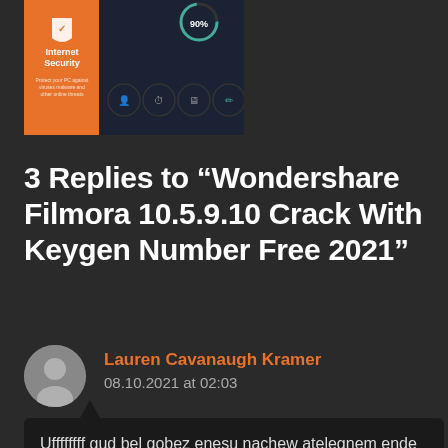[Figure (screenshot): Screenshot of Internet Security software with orange branding on the left and a dark dashboard UI on the right showing icons and a 90% gauge]
3 Replies to “Wondershare Filmora 10.5.9.10 Crack With Keygen Number Free 2021”
Lauren Cavanaugh Kramer
08.10.2021 at 02:03
Uffffffff gud bel gobez enesu nachew atelegnem ende tadeva ye Ethiopian bir yeyazut bewer eko